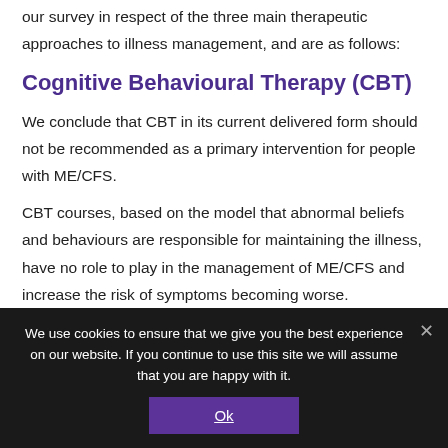our survey in respect of the three main therapeutic approaches to illness management, and are as follows:
Cognitive Behavioural Therapy (CBT)
We conclude that CBT in its current delivered form should not be recommended as a primary intervention for people with ME/CFS.
CBT courses, based on the model that abnormal beliefs and behaviours are responsible for maintaining the illness, have no role to play in the management of ME/CFS and increase the risk of symptoms becoming worse.
We use cookies to ensure that we give you the best experience on our website. If you continue to use this site we will assume that you are happy with it.